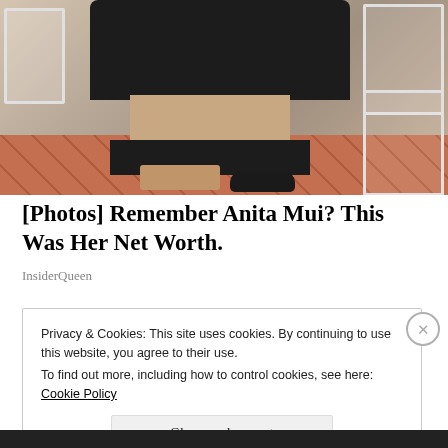[Figure (photo): Woman in black dress seated on white metal chair at outdoor patio with terracotta tile floor]
[Photos] Remember Anita Mui? This Was Her Net Worth.
InsiderQueen
Privacy & Cookies: This site uses cookies. By continuing to use this website, you agree to their use.
To find out more, including how to control cookies, see here: Cookie Policy
Close and accept